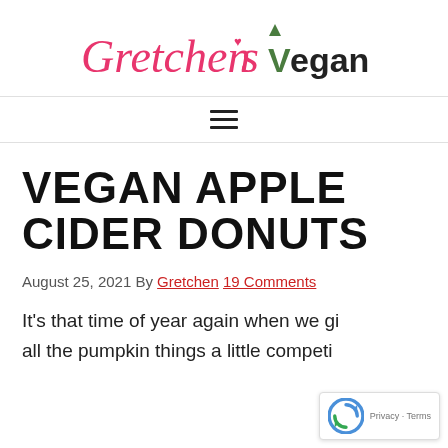Gretchen's Vegan Bakery
[Figure (logo): Gretchen's Vegan Bakery logo with pink cursive script for 'Gretchen's' and bold black sans-serif for 'Vegan Bakery' with green leaf on the V]
VEGAN APPLE CIDER DONUTS
August 25, 2021 By Gretchen 19 Comments
It's that time of year again when we give all the pumpkin things a little competi